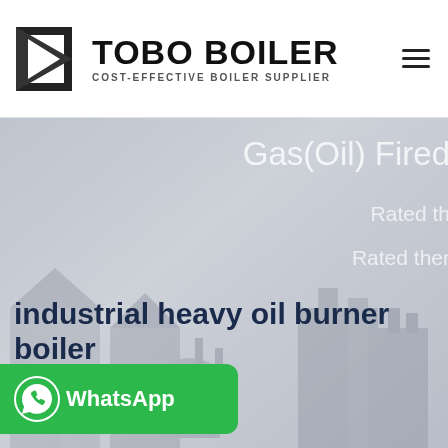TOBO BOILER — COST-EFFECTIVE BOILER SUPPLIER
[Figure (screenshot): Hero banner image showing industrial boiler equipment in background with overlay text. Text reads: Gas(Oil) Fired, Rated th[ermal...], Rated ther[mal...]. Bottom text: industrial heavy oil burner boiler. WhatsApp button overlay at bottom left.]
industrial heavy oil burner boiler